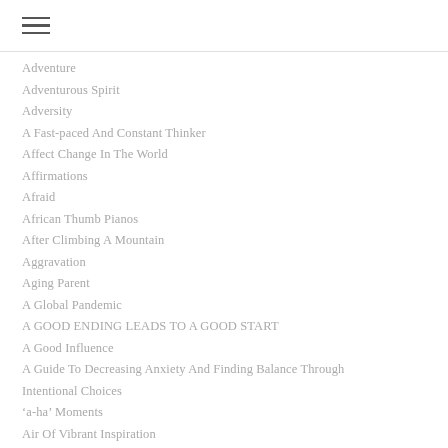Adventure
Adventurous Spirit
Adversity
A Fast-paced And Constant Thinker
Affect Change In The World
Affirmations
Afraid
African Thumb Pianos
After Climbing A Mountain
Aggravation
Aging Parent
A Global Pandemic
A GOOD ENDING LEADS TO A GOOD START
A Good Influence
A Guide To Decreasing Anxiety And Finding Balance Through Intentional Choices
‘a-ha’ Moments
Air Of Vibrant Inspiration